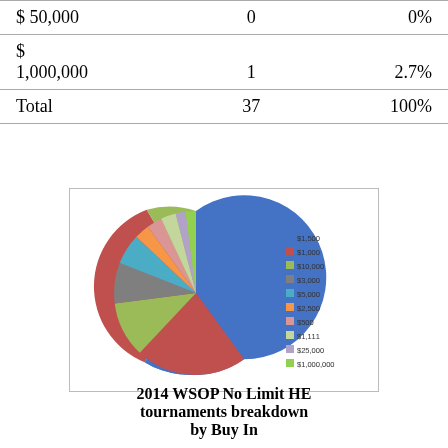| $ 50,000 | 0 | 0% |
| $
1,000,000 | 1 | 2.7% |
| Total | 37 | 100% |
[Figure (pie-chart): 2014 WSOP No Limit HE tournaments breakdown by Buy In]
2014 WSOP No Limit HE tournaments breakdown by Buy In